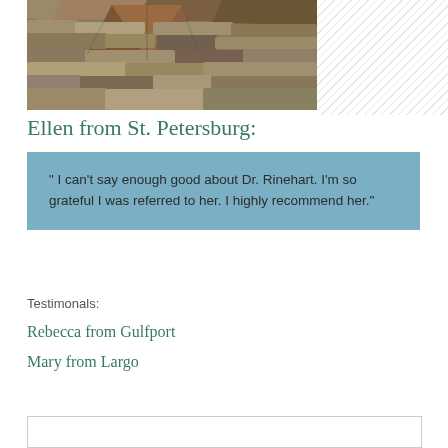[Figure (photo): Close-up photograph of stacked flat stones/rocks in various earthy brown and grey tones]
Ellen from St. Petersburg:
" I can't say enough good about Dr. Rinehart. I'm so grateful I was referred to her. I highly recommend her."
Testimonals:
Rebecca from Gulfport
Mary from Largo